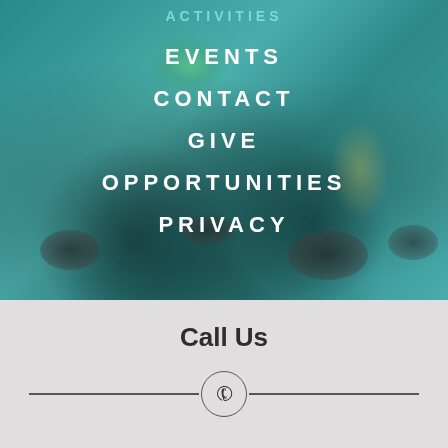[Figure (photo): Underwater or shallow river scene with teal-blue water, rocks on bottom, and a figure visible in the water background]
ACTIVITIES
EVENTS
CONTACT
GIVE
OPPORTUNITIES
PRIVACY
Call Us
[Figure (illustration): Decorative horizontal divider with a phone icon in a circle in the center]